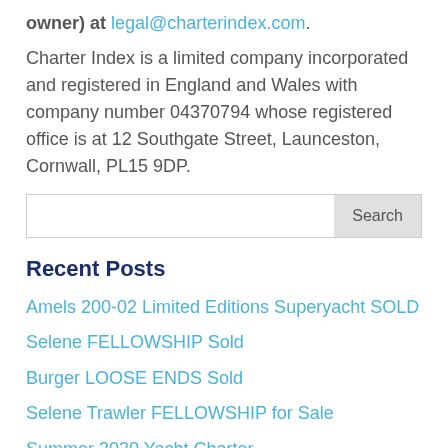owner) at legal@charterindex.com.
Charter Index is a limited company incorporated and registered in England and Wales with company number 04370794 whose registered office is at 12 Southgate Street, Launceston, Cornwall, PL15 9DP.
Recent Posts
Amels 200-02 Limited Editions Superyacht SOLD
Selene FELLOWSHIP Sold
Burger LOOSE ENDS Sold
Selene Trawler FELLOWSHIP for Sale
Summer 2020 Yacht Charter